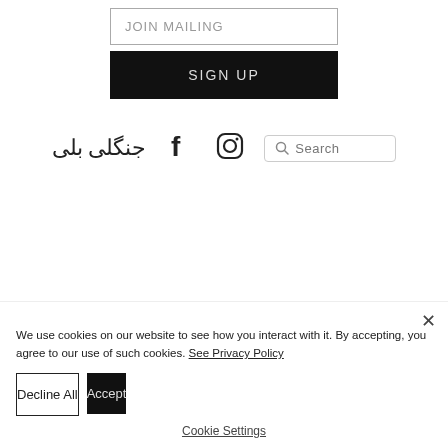JOIN MAILING
SIGN UP
[Figure (logo): Site logo in Urdu/Persian script: جنگلی بلی]
[Figure (logo): Facebook social media icon (bold F)]
[Figure (logo): Instagram social media icon (camera outline)]
Search
We use cookies on our website to see how you interact with it. By accepting, you agree to our use of such cookies. See Privacy Policy
Decline All
Accept
Cookie Settings